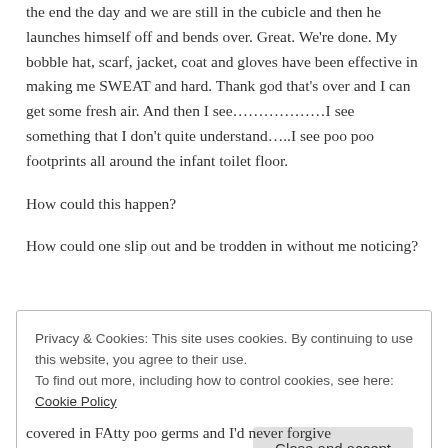the end the day and we are still in the cubicle and then he launches himself off and bends over. Great. We're done. My bobble hat, scarf, jacket, coat and gloves have been effective in making me SWEAT and hard. Thank god that's over and I can get some fresh air. And then I see………………I see something that I don't quite understand…..I see poo poo footprints all around the infant toilet floor.
How could this happen?
How could one slip out and be trodden in without me noticing?
Privacy & Cookies: This site uses cookies. By continuing to use this website, you agree to their use.
To find out more, including how to control cookies, see here: Cookie Policy
covered in FAtty poo germs and I'd never forgive